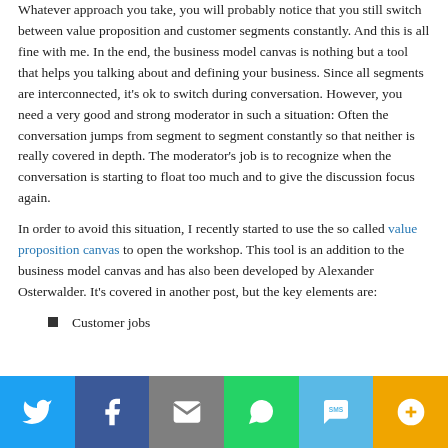Whatever approach you take, you will probably notice that you still switch between value proposition and customer segments constantly. And this is all fine with me. In the end, the business model canvas is nothing but a tool that helps you talking about and defining your business. Since all segments are interconnected, it's ok to switch during conversation. However, you need a very good and strong moderator in such a situation: Often the conversation jumps from segment to segment constantly so that neither is really covered in depth. The moderator's job is to recognize when the conversation is starting to float too much and to give the discussion focus again.
In order to avoid this situation, I recently started to use the so called value proposition canvas to open the workshop. This tool is an addition to the business model canvas and has also been developed by Alexander Osterwalder. It's covered in another post, but the key elements are:
Customer jobs
Twitter | Facebook | Email | WhatsApp | SMS | More